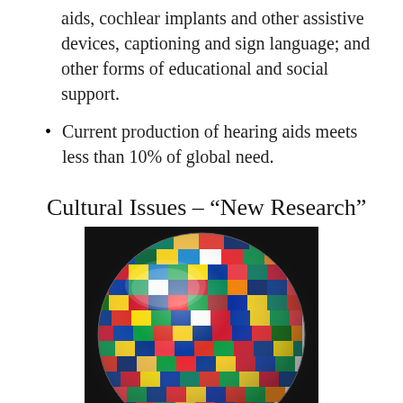aids, cochlear implants and other assistive devices, captioning and sign language; and other forms of educational and social support.
Current production of hearing aids meets less than 10% of global need.
Cultural Issues – "New Research"
[Figure (photo): A spherical globe covered with the flags of many nations of the world, displayed against a dark background.]